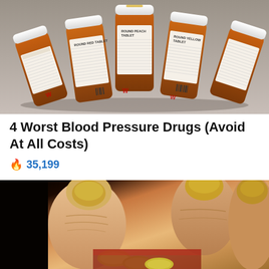[Figure (photo): Multiple orange prescription pill bottles with white caps and labels laid out on a gray surface, showing a Walgreens pharmacy context]
4 Worst Blood Pressure Drugs (Avoid At All Costs)
🔥 35,199
[Figure (photo): Close-up of fingers holding small yellow pills, with fingernails visible showing yellowish discoloration]